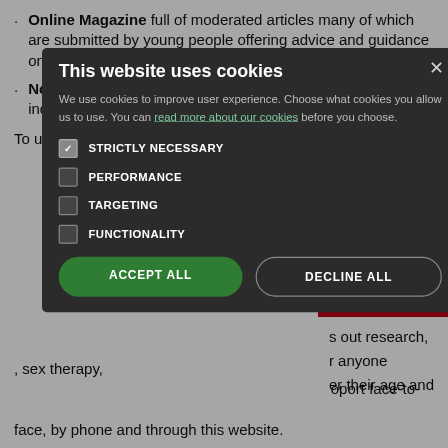Online Magazine full of moderated articles many of which are submitted by young people offering advice and guidance on a huge range of topics.
No referral is required. Young people can register for kooth independently at www.kooth.com
To use the service or find out more visit www.Kooth.com
[Figure (screenshot): Cookie consent modal overlay on a dark semi-transparent background. Modal titled 'This website uses cookies' with body text about cookie usage and a link 'read more about our cookies'. Four options listed: STRICTLY NECESSARY (checked), PERFORMANCE, TARGETING, FUNCTIONALITY. Two buttons: ACCEPT ALL (green) and DECLINE ALL (outlined).]
rvice by
[Figure (other): Partial red banner showing 'ealth Foundation' text in white on red background]
s out research, r anyone er their age and
, sex therapy, oport face-to-face, by phone and through this website.